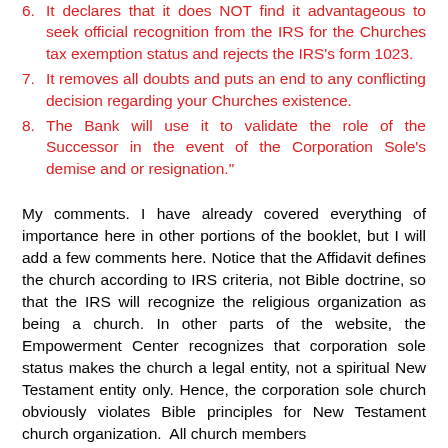6. It declares that it does NOT find it advantageous to seek official recognition from the IRS for the Churches tax exemption status and rejects the IRS's form 1023.
7. It removes all doubts and puts an end to any conflicting decision regarding your Churches existence.
8. The Bank will use it to validate the role of the Successor in the event of the Corporation Sole's demise and or resignation."
My comments. I have already covered everything of importance here in other portions of the booklet, but I will add a few comments here. Notice that the Affidavit defines the church according to IRS criteria, not Bible doctrine, so that the IRS will recognize the religious organization as being a church. In other parts of the website, the Empowerment Center recognizes that corporation sole status makes the church a legal entity, not a spiritual New Testament entity only. Hence, the corporation sole church obviously violates Bible principles for New Testament church organization. All church members